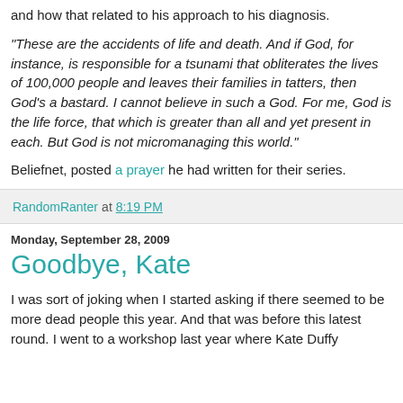and how that related to his approach to his diagnosis.
"These are the accidents of life and death. And if God, for instance, is responsible for a tsunami that obliterates the lives of 100,000 people and leaves their families in tatters, then God's a bastard. I cannot believe in such a God. For me, God is the life force, that which is greater than all and yet present in each. But God is not micromanaging this world."
Beliefnet, posted a prayer he had written for their series.
RandomRanter at 8:19 PM
Monday, September 28, 2009
Goodbye, Kate
I was sort of joking when I started asking if there seemed to be more dead people this year. And that was before this latest round. I went to a workshop last year where Kate Duffy